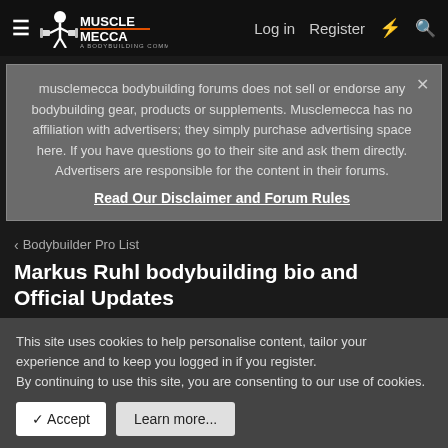MuscleMecca | Log in | Register
musclemecca bodybuilding forums does not sell or endorse any bodybuilding gear, products or supplements. Musclemecca has no affiliation with advertisers; they simply purchase advertising space here. If you have questions go to their site and ask them directly. Advertisers are responsible for the content in their forums. Read Our Disclaimer and Forum Rules
Bodybuilder Pro List
Markus Ruhl bodybuilding bio and Official Updates
TalkAdmin · Jul 9, 2014
1 2 Next
This site uses cookies to help personalise content, tailor your experience and to keep you logged in if you register. By continuing to use this site, you are consenting to our use of cookies.